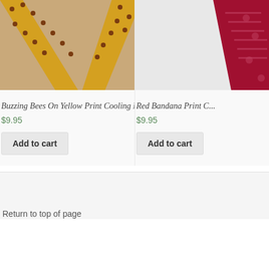[Figure (photo): Yellow fabric neck wrap with dark dot pattern arranged in a V shape against a tan/beige background]
[Figure (photo): Red bandana print fabric/neck wrap partially visible, cropped at right edge]
Buzzing Bees On Yellow Print Cooling Neck Wrap
Red Bandana Print C...
$9.95
$9.95
Add to cart
Add to cart
Return to top of page